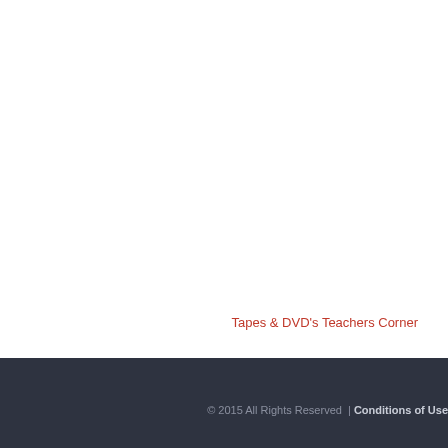Tapes & DVD's Teachers Corner
© 2015 All Rights Reserved  |  Conditions of Use